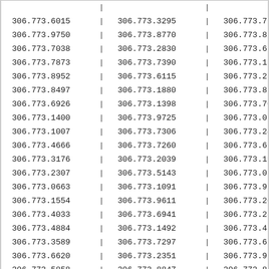| Col1 | Col2 | Col3 |
| --- | --- | --- |
| 306.773.6015 | 306.773.3295 | 306.773.7270 |
| 306.773.9750 | 306.773.8770 | 306.773.8282 |
| 306.773.7038 | 306.773.2830 | 306.773.6729 |
| 306.773.7873 | 306.773.7390 | 306.773.1264 |
| 306.773.8952 | 306.773.6115 | 306.773.2774 |
| 306.773.8497 | 306.773.1880 | 306.773.8169 |
| 306.773.6926 | 306.773.1398 | 306.773.7011 |
| 306.773.1400 | 306.773.9725 | 306.773.0694 |
| 306.773.1007 | 306.773.7306 | 306.773.2410 |
| 306.773.4666 | 306.773.7260 | 306.773.6933 |
| 306.773.3176 | 306.773.2039 | 306.773.1922 |
| 306.773.2307 | 306.773.5143 | 306.773.0848 |
| 306.773.0663 | 306.773.1091 | 306.773.9569 |
| 306.773.1554 | 306.773.9611 | 306.773.2087 |
| 306.773.4033 | 306.773.6941 | 306.773.2568 |
| 306.773.4884 | 306.773.1492 | 306.773.4375 |
| 306.773.3589 | 306.773.7297 | 306.773.6229 |
| 306.773.6620 | 306.773.2351 | 306.773.9355 |
| 306.773.5858 | 306.773.8847 | 306.773.8884 |